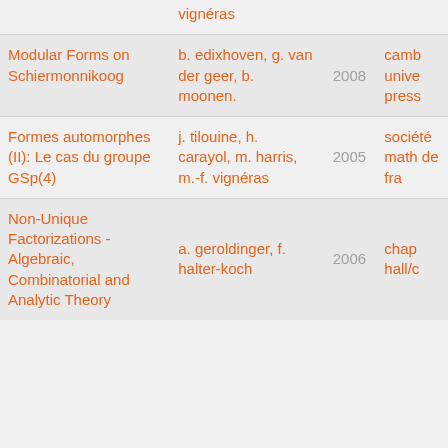| Title | Authors | Year | Publisher |
| --- | --- | --- | --- |
| vignéras |  |  |  |
| Modular Forms on Schiermonnikoog | b. edixhoven, g. van der geer, b. moonen. | 2008 | camb unive press |
| Formes automorphes (II): Le cas du groupe GSp(4) | j. tilouine, h. carayol, m. harris, m.-f. vignéras | 2005 | société math de fra |
| Non-Unique Factorizations - Algebraic, Combinatorial and Analytic Theory | a. geroldinger, f. halter-koch | 2006 | chap hall/c |